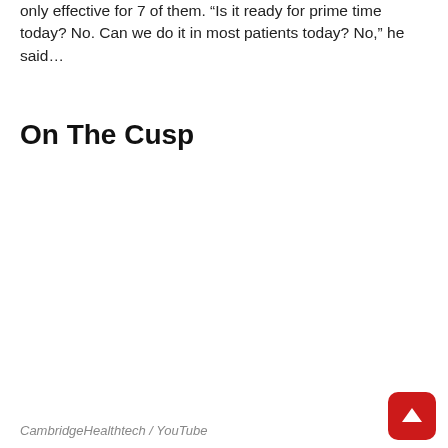only effective for 7 of them. “Is it ready for prime time today? No. Can we do it in most patients today? No,” he said…
On The Cusp
CambridgeHealthtech / YouTube